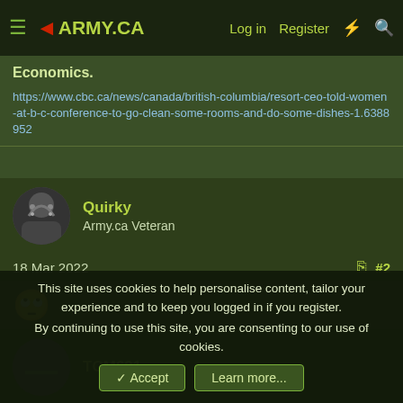◄ARMY.CA   Log in   Register
Economics.
https://www.cbc.ca/news/canada/british-columbia/resort-ceo-told-women-at-b-c-conference-to-go-clean-some-rooms-and-do-some-dishes-1.6388952
Quirky
Army.ca Veteran
18 Mar 2022   #2
🙄
TCM621
This site uses cookies to help personalise content, tailor your experience and to keep you logged in if you register.
By continuing to use this site, you are consenting to our use of cookies.
✓ Accept   Learn more...